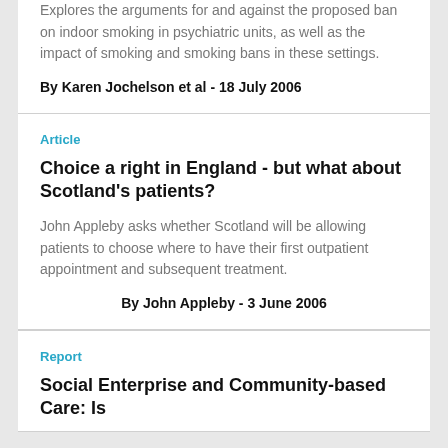Explores the arguments for and against the proposed ban on indoor smoking in psychiatric units, as well as the impact of smoking and smoking bans in these settings.
By Karen Jochelson et al - 18 July 2006
Article
Choice a right in England - but what about Scotland's patients?
John Appleby asks whether Scotland will be allowing patients to choose where to have their first outpatient appointment and subsequent treatment.
By John Appleby - 3 June 2006
Report
Social Enterprise and Community-based Care: